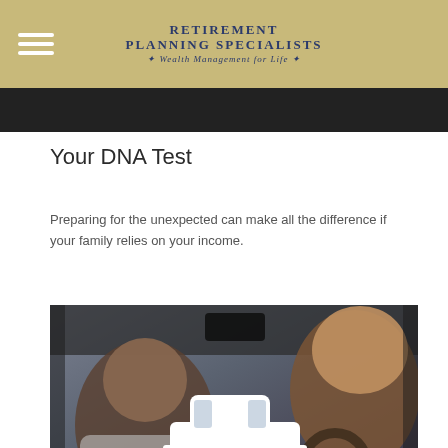RETIREMENT PLANNING SPECIALISTS * Wealth Management for Life *
[Figure (photo): Dark photo strip at top of page, appears to be a crowd or group scene]
Your DNA Test
Preparing for the unexpected can make all the difference if your family relies on your income.
[Figure (photo): Photo of people inside a car, man driving and woman passenger, with a white car icon/silhouette overlaid in the center of the image]